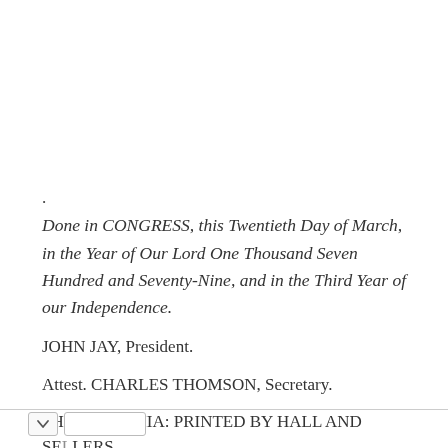.
Done in CONGRESS, this Twentieth Day of March, in the Year of Our Lord One Thousand Seven Hundred and Seventy-Nine, and in the Third Year of our Independence.
JOHN JAY, President.
Attest. CHARLES THOMSON, Secretary.
PHILADELPHIA: PRINTED BY HALL AND SELLERS.